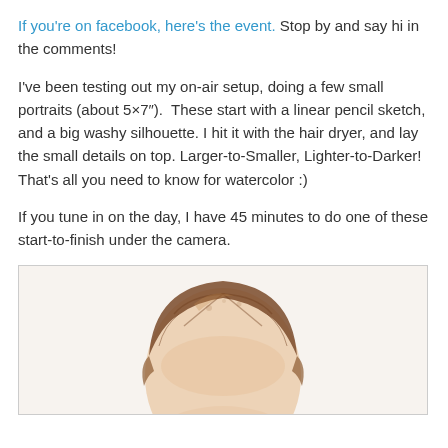If you're on facebook, here's the event. Stop by and say hi in the comments!
I've been testing out my on-air setup, doing a few small portraits (about 5×7").  These start with a linear pencil sketch, and a big washy silhouette. I hit it with the hair dryer, and lay the small details on top. Larger-to-Smaller, Lighter-to-Darker! That's all you need to know for watercolor :)
If you tune in on the day, I have 45 minutes to do one of these start-to-finish under the camera.
[Figure (photo): A watercolor portrait showing the top of a person's head with brown/reddish-brown hair, painted in a washy watercolor style. Only the hair and top of the head are visible, cropped at the bottom of the image frame.]